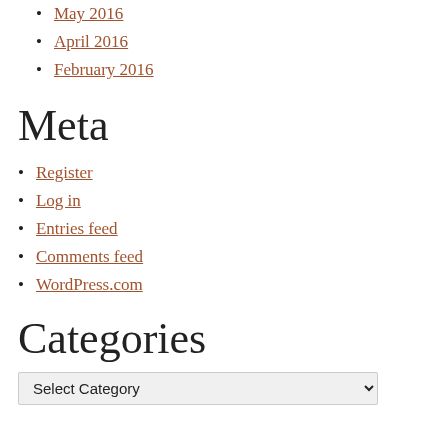May 2016
April 2016
February 2016
Meta
Register
Log in
Entries feed
Comments feed
WordPress.com
Categories
Select Category